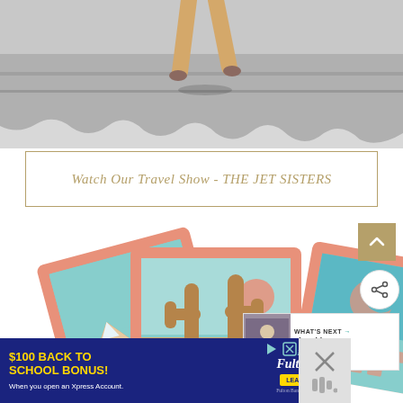[Figure (photo): Cropped photo of a person's legs walking on a grey road/pavement, with a torn/cutout paper edge effect at the bottom. The image is desaturated and shows the lower half of a person.]
Watch Our Travel Show - THE JET SISTERS
[Figure (illustration): Illustration of three polaroid-style travel postcards/cards fanned out. Left card shows desert pyramids and pink sun over teal sky. Center card shows two tall cacti on sandy ground. Right card shows a crescent moon with city film strip on teal background. All cards have pink/salmon borders in a retro travel aesthetic.]
[Figure (screenshot): WHAT'S NEXT panel showing a thumbnail photo and text 'The Ultimate Mural Guide...']
[Figure (infographic): Advertisement for Fulton Bank: '$100 BACK TO SCHOOL BONUS! When you open an Xpress Account.' with Fulton Bank logo and LEARN MORE button.]